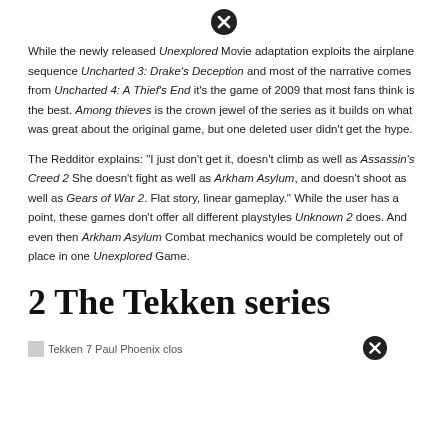[Figure (other): Close/X button icon (circle with X)]
While the newly released Unexplored Movie adaptation exploits the airplane sequence Uncharted 3: Drake's Deception and most of the narrative comes from Uncharted 4: A Thief's End it's the game of 2009 that most fans think is the best. Among thieves is the crown jewel of the series as it builds on what was great about the original game, but one deleted user didn't get the hype.
The Redditor explains: "I just don't get it, doesn't climb as well as Assassin's Creed 2 She doesn't fight as well as Arkham Asylum, and doesn't shoot as well as Gears of War 2. Flat story, linear gameplay." While the user has a point, these games don't offer all different playstyles Unknown 2 does. And even then Arkham Asylum Combat mechanics would be completely out of place in one Unexplored Game.
2 The Tekken series
[Figure (other): Tekken 7 Paul Phoenix close-up image with close/X button overlay]
Tekken 7 Paul Phoenix close-up